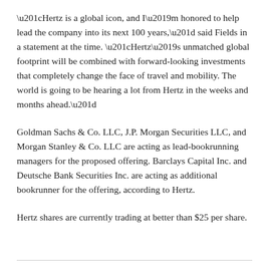“Hertz is a global icon, and I’m honored to help lead the company into its next 100 years,” said Fields in a statement at the time. “Hertz’s unmatched global footprint will be combined with forward-looking investments that completely change the face of travel and mobility. The world is going to be hearing a lot from Hertz in the weeks and months ahead.”
Goldman Sachs & Co. LLC, J.P. Morgan Securities LLC, and Morgan Stanley & Co. LLC are acting as lead-bookrunning managers for the proposed offering. Barclays Capital Inc. and Deutsche Bank Securities Inc. are acting as additional bookrunner for the offering, according to Hertz.
Hertz shares are currently trading at better than $25 per share.